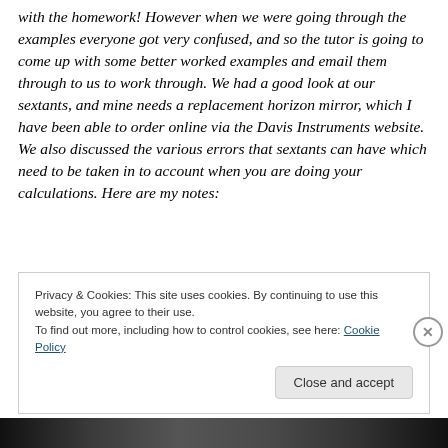with the homework! However when we were going through the examples everyone got very confused, and so the tutor is going to come up with some better worked examples and email them through to us to work through. We had a good look at our sextants, and mine needs a replacement horizon mirror, which I have been able to order online via the Davis Instruments website. We also discussed the various errors that sextants can have which need to be taken in to account when you are doing your calculations. Here are my notes:
Privacy & Cookies: This site uses cookies. By continuing to use this website, you agree to their use. To find out more, including how to control cookies, see here: Cookie Policy
[Figure (photo): Partial image visible at the bottom of the page, appears to be a dark photograph strip]